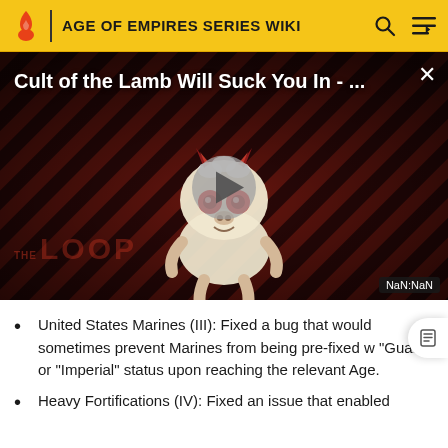AGE OF EMPIRES SERIES WIKI
[Figure (screenshot): Video thumbnail with diagonal red and dark brown stripes background, a cartoon creature with devil horns and red eyes, a play button overlay, 'THE LOOP' watermark, and title 'Cult of the Lamb Will Suck You In - ...' with NaN:NaN timestamp badge.]
United States Marines (III): Fixed a bug that would sometimes prevent Marines from being pre-fixed w "Guard" or "Imperial" status upon reaching the relevant Age.
Heavy Fortifications (IV): Fixed an issue that enabled